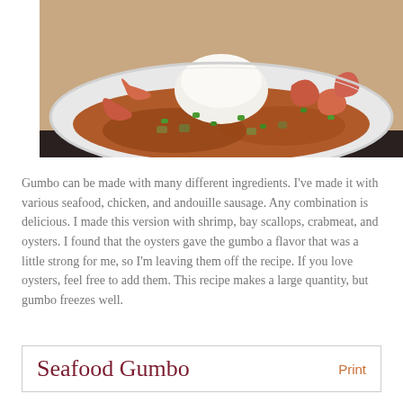[Figure (photo): A white plate of seafood gumbo with shrimp, vegetables in a brown stew sauce garnished with green onions, with a mound of white rice in the center]
Gumbo can be made with many different ingredients. I've made it with various seafood, chicken, and andouille sausage. Any combination is delicious. I made this version with shrimp, bay scallops, crabmeat, and oysters. I found that the oysters gave the gumbo a flavor that was a little strong for me, so I'm leaving them off the recipe. If you love oysters, feel free to add them. This recipe makes a large quantity, but gumbo freezes well.
Seafood Gumbo
Print